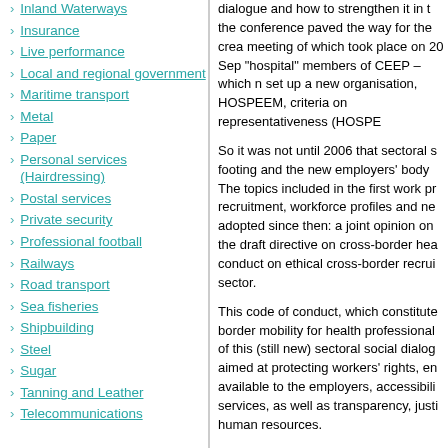Inland Waterways
Insurance
Live performance
Local and regional government
Maritime transport
Metal
Paper
Personal services (Hairdressing)
Postal services
Private security
Professional football
Railways
Road transport
Sea fisheries
Shipbuilding
Steel
Sugar
Tanning and Leather
Telecommunications
dialogue and how to strengthen it in the conference paved the way for the creation, meeting of which took place on 20 Sep "hospital" members of CEEP – which r set up a new organisation, HOSPEEM, criteria on representativeness (HOSPE…
So it was not until 2006 that sectoral s footing and the new employers' body The topics included in the first work pr recruitment, workforce profiles and ne adopted since then: a joint opinion on the draft directive on cross-border hea conduct on ethical cross-border recrui sector.
This code of conduct, which constitute border mobility for health professional of this (still new) sectoral social dialog aimed at protecting workers' rights, e available to the employers, accessibili services, as well as transparency, justi human resources.
In July 2009 the social partners in the important Framework Agreement on p hospital and healthcare sector. This do hospital workers caused by medical sh as risk prevention, protection and elim raising, and response and follow-up n